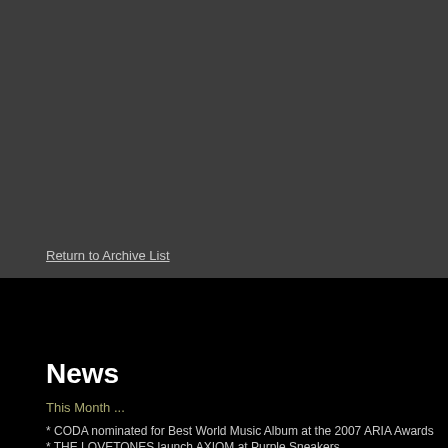Return to Archive List
News
This Month ...
* CODA nominated for Best World Music Album at the 2007 ARIA Awards
* THE LOVETONES launch AXIOM at Purple Sneakers